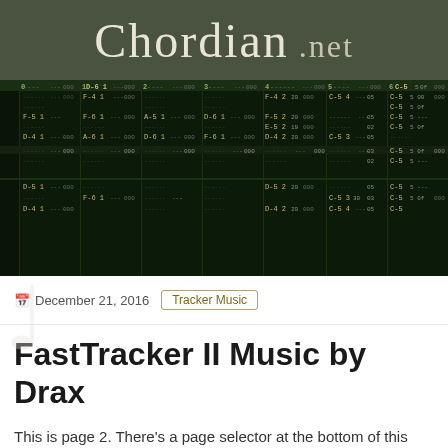Chordian.net
[Figure (screenshot): FastTracker II music tracker software screenshot showing multiple channels with note data including notes like F-4, F-5, E-5, D-4, D-5 across 7 channels with green monospace text on dark background]
December 21, 2016   Tracker Music
FastTracker II Music by Drax
This is page 2. There's a page selector at the bottom of this page.